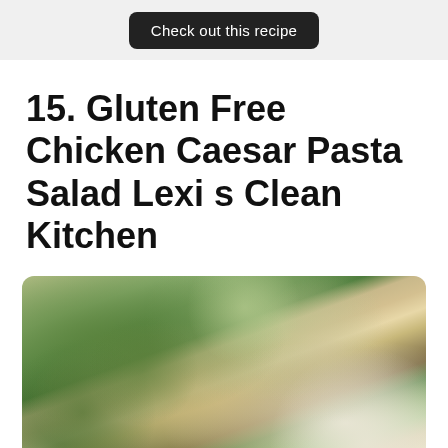[Figure (other): Gray section with a dark rounded button labeled 'Check out this recipe']
15. Gluten Free Chicken Caesar Pasta Salad Lexi s Clean Kitchen
[Figure (photo): Close-up photo of gluten free chicken Caesar pasta salad with rotini pasta, green leafy vegetables, shredded chicken, and Caesar dressing in a bowl]